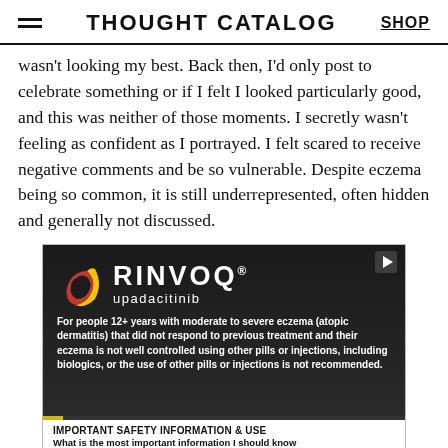THOUGHT CATALOG | SHOP
wasn't looking my best. Back then, I'd only post to celebrate something or if I felt I looked particularly good, and this was neither of those moments. I secretly wasn't feeling as confident as I portrayed. I felt scared to receive negative comments and be so vulnerable. Despite eczema being so common, it is still underrepresented, often hidden and generally not discussed.
[Figure (screenshot): RINVOQ (upadacitinib) pharmaceutical advertisement showing a dark video player with the RINVOQ logo (yellow/red crescent), drug name, indication text for eczema patients, a progress bar, and safety information section below including 'IMPORTANT SAFETY INFORMATION & USE' and bullet points about serious infections.]